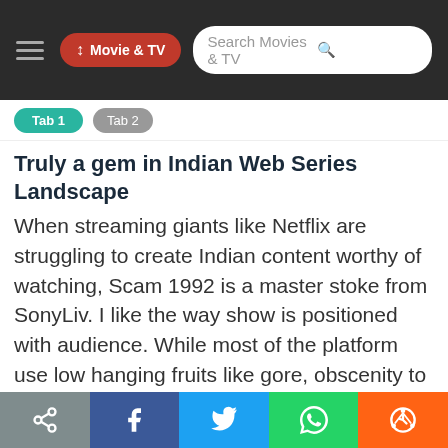Movie & TV — Search Movies & TV
Truly a gem in Indian Web Series Landscape
When streaming giants like Netflix are struggling to create Indian content worthy of watching, Scam 1992 is a master stoke from SonyLiv. I like the way show is positioned with audience. While most of the platform use low hanging fruits like gore, obscenity to quickly acquire new audience, this show refrained from using them (although there are swear words). But it will make sense if you think about it - millennials haven't heard about Harshad Meheta but their parents have. They are also familiar with Sony as a brand. So it
Share buttons: link, Facebook, Twitter, WhatsApp, Reddit